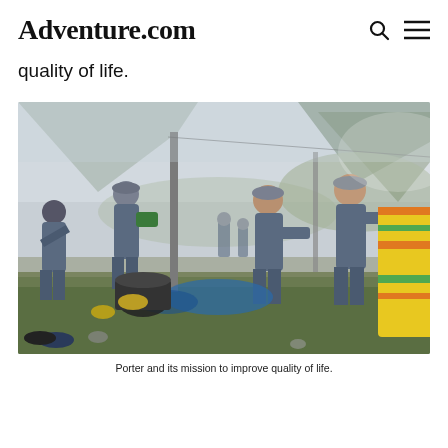Adventure.com
quality of life.
[Figure (photo): Group of workers in blue-grey uniforms handling colorful woven blankets and supplies outdoors near a mountainous area. Several people are sorting and folding items on the grass, with buckets and bags visible.]
Porter and its mission to improve quality of life.